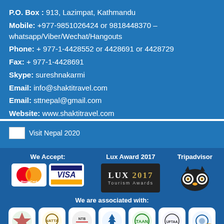P.O. Box : 913, Lazimpat, Kathmandu
Mobile: +977-9851026424 or 9818448370 – whatsapp/Viber/Wechat/Hangouts
Phone: + 977-1-4428552 or 4428691 or 4428729
Fax: + 977-1-4428691
Skype: sureshnakarmi
Email: info@shaktitravel.com
Email: sttnepal@gmail.com
Website: www.shaktitravel.com
[Figure (logo): Visit Nepal 2020 logo with flag icon]
We Accept:
[Figure (logo): MasterCard logo]
[Figure (logo): VISA logo]
Lux Award 2017
[Figure (logo): LUX 2017 Tourism Awards logo]
Tripadvisor
[Figure (logo): Tripadvisor owl logo]
We are associated with:
[Figure (logo): Association logos: NTB, TAAN, UFTAA and others]
Connect us on social media: